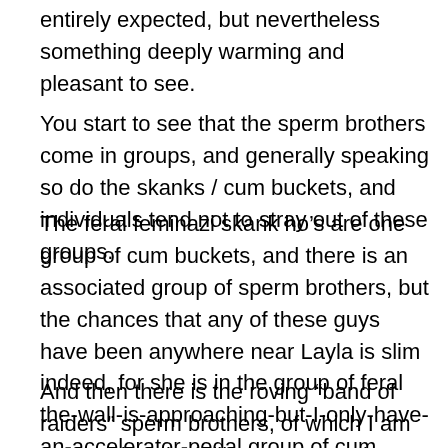entirely expected, but nevertheless something deeply warming and pleasant to see.
You start to see that the sperm brothers come in groups, and generally speaking so do the skanks / cum buckets, and individuals tend not to stray out of these groups.
The feral feminazi skank ho’s are one group of cum buckets, and there is an associated group of sperm brothers, but the chances that any of these guys have been anywhere near Layla is slim indeed, for she is in the group of feral the-wall-is-approaching-but-I-only-have-an-accelerator-pedal group of cum buckets, and that has a separate but associated group of sperm brothers.
And then there is the roving “band of raiders” sperm brothers, of which I am one, and we look like a group to those outside, but we only come across one another when